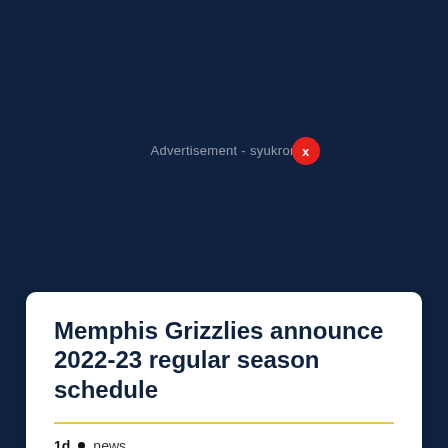Advertisement - syukron
Memphis Grizzlies announce 2022-23 regular season schedule
1d • news